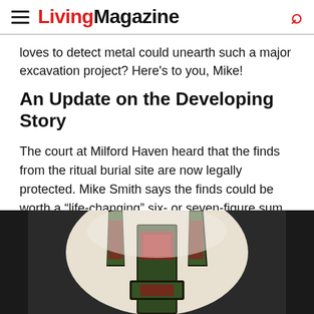Living Magazine
loves to detect metal could unearth such a major excavation project? Here's to you, Mike!
An Update on the Developing Story
The court at Milford Haven heard that the finds from the ritual burial site are now legally protected. Mike Smith says the finds could be worth a “life-changing” six- or seven-figure sum. Nine artifacts are now Crown property, and an independent evaluation committee will decide on Smith’s payout. That sum will then be shared fifty-fifty between him and the landowner.
[Figure (photo): Photo of ancient metal artifact with red and green patina, appearing to be a decorative metal piece with spiked/crown-like features, photographed against a dark background with a white cup visible behind it.]